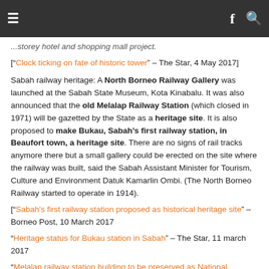≡   f 🔍
...storey hotel and shopping mall project. ["Clock ticking on fate of historic tower" – The Star, 4 May 2017]
Sabah railway heritage: A North Borneo Railway Gallery was launched at the Sabah State Museum, Kota Kinabalu. It was also announced that the old Melalap Railway Station (which closed in 1971) will be gazetted by the State as a heritage site. It is also proposed to make Bukau, Sabah's first railway station, in Beaufort town, a heritage site. There are no signs of rail tracks anymore there but a small gallery could be erected on the site where the railway was built, said the Sabah Assistant Minister for Tourism, Culture and Environment Datuk Kamarlin Ombi. (The North Borneo Railway started to operate in 1914). ["Sabah's first railway station proposed as historical heritage site" – Borneo Post, 10 March 2017 "Heritage status for Bukau station in Sabah" – The Star, 11 march 2017 "Melalap railway station building to be preserved as National Heritage – Poirin" – Borneo Post, 22 March 2017]